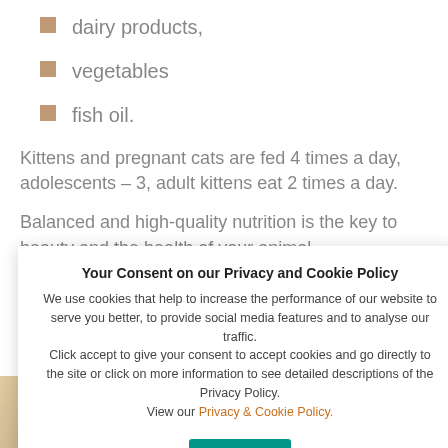dairy products,
vegetables
fish oil.
Kittens and pregnant cats are fed 4 times a day, adolescents – 3, adult kittens eat 2 times a day.
Balanced and high-quality nutrition is the key to beauty and the health of your animal.
Your Consent on our Privacy and Cookie Policy
We use cookies that help to increase the performance of our website to serve you better, to provide social media features and to analyse our traffic.
Click accept to give your consent to accept cookies and go directly to the site or click on more information to see detailed descriptions of the Privacy Policy.
View our Privacy & Cookie Policy.
OK
[Figure (photo): Photo of a cat, partially visible at the bottom of the page]